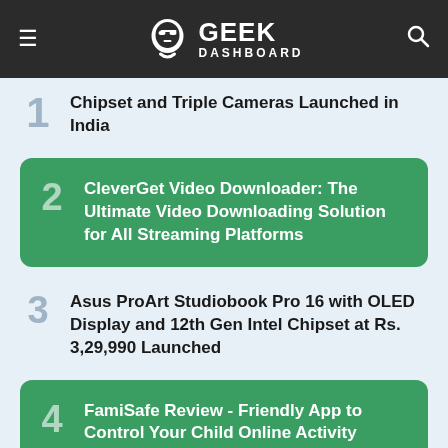GEEK DASHBOARD
1. Chipset and Triple Cameras Launched in India
2. CleverGet Video Downloader: The Ultimate Video Downloading Solution for All Streaming Platforms
3. Asus ProArt Studiobook Pro 16 with OLED Display and 12th Gen Intel Chipset at Rs. 3,29,990 Launched
4. FamiSafe Review - Friendly App to Control Your Child Online Activity
5. NoiseFit Core 2 Smartwatch Launched with an